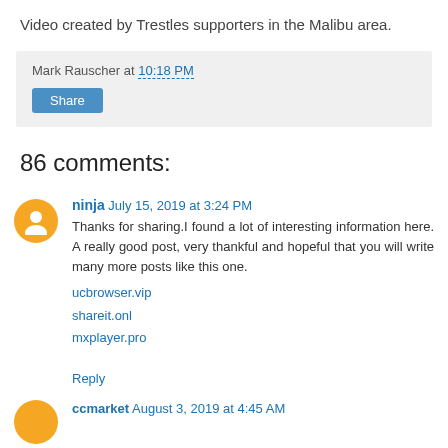Video created by Trestles supporters in the Malibu area.
Mark Rauscher at 10:18 PM
Share
86 comments:
ninja July 15, 2019 at 3:24 PM
Thanks for sharing.I found a lot of interesting information here. A really good post, very thankful and hopeful that you will write many more posts like this one.
ucbrowser.vip
shareit.onl
mxplayer.pro
Reply
ccmarket August 3, 2019 at 4:45 AM